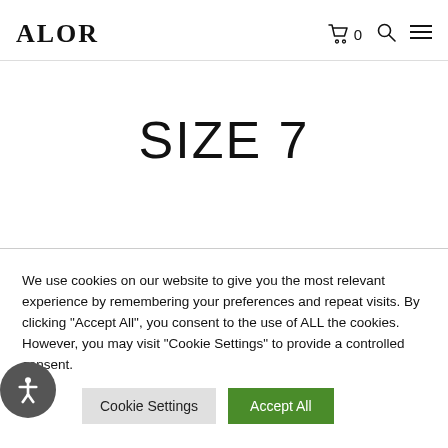ALOR
SIZE 7
We use cookies on our website to give you the most relevant experience by remembering your preferences and repeat visits. By clicking "Accept All", you consent to the use of ALL the cookies. However, you may visit "Cookie Settings" to provide a controlled consent.